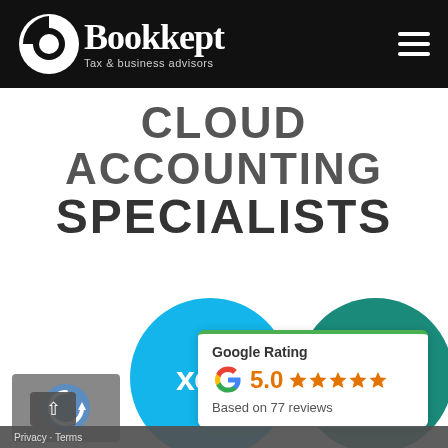[Figure (logo): Bookkept logo — circular pie-chart icon in white, text 'Bookkept' in white serif font, subtitle 'Tax & business advisors' in light grey, on black header bar with hamburger menu icon on right]
CLOUD ACCOUNTING SPECIALISTS
[Figure (logo): Xero logo circle (light blue) with white 'xero' text, and a teal circle partially visible to the right]
[Figure (infographic): Google Rating card: Google 'G' logo, rating 5.0, five orange stars, 'Based on 77 reviews']
[Figure (other): reCAPTCHA widget (grey box with reCAPTCHA logo)]
Privacy · Terms